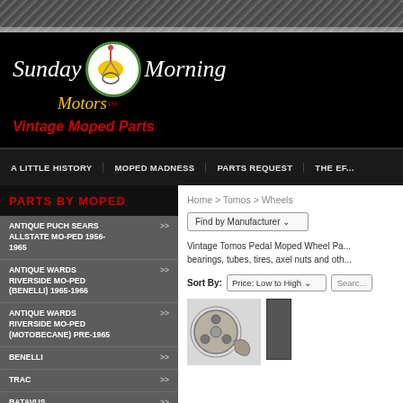[Figure (screenshot): Diagonal hatched texture bar at top of page]
[Figure (logo): Sunday Morning Motors logo with cursive text, circular emblem, and 'Vintage Moped Parts' tagline in red italic]
A LITTLE HISTORY | MOPED MADNESS | PARTS REQUEST | THE EF...
PARTS BY MOPED
ANTIQUE PUCH SEARS ALLSTATE MO-PED 1956-1965 >>
ANTIQUE WARDS RIVERSIDE MO-PED (BENELLI) 1965-1966 >>
ANTIQUE WARDS RIVERSIDE MO-PED (MOTOBECANE) PRE-1965 >>
BENELLI >>
TRAC >>
BATAVUS >>
COLUMBIA (SACHS ...
Home > Tomos > Wheels
Find by Manufacturer ▾
Vintage Tomos Pedal Moped Wheel Pa... bearings, tubes, tires, axel nuts and oth...
Sort By: Price: Low to High ▾  Searc...
[Figure (photo): Small metallic moped wheel part component (round with holes), and partial view of another item to the right]